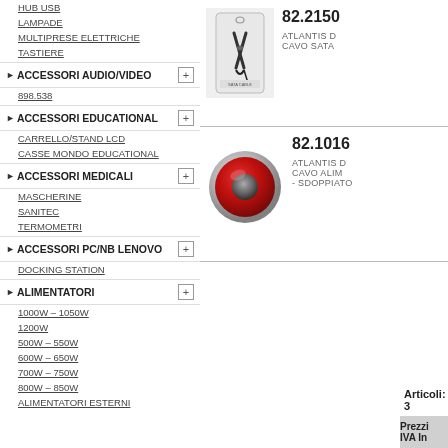HUB USB
LAMPADE
MULTIPRESE ELETTRICHE
TASTIERE
ACCESSORI AUDIO/VIDEO
898.538
ACCESSORI EDUCATIONAL
CARRELLO/STAND LCD
CASSE MONDO EDUCATIONAL
ACCESSORI MEDICALI
MASCHERINE
SANITEC
TERMOMETRI
ACCESSORI PC/NB LENOVO
DOCKING STATION
ALIMENTATORI
1000W – 1050W
1200W
500W – 550W
600W – 650W
700W – 750W
800W – 850W
ALIMENTATORI ESTERNI
[Figure (photo): Product image for item 82.2150 - ATLANTIS D - CAVO SATA, showing scissors/cable in packaging]
82.2150
ATLANTIS D - CAVO SATA
[Figure (photo): Product image for item 82.1016 - ATLANTIS D - CAVO ALIM - SDOPPIATO, showing a red and grey circular object]
82.1016
ATLANTIS D - CAVO ALIM - SDOPPIATO
Articoli: 3
Prezzi IVA In